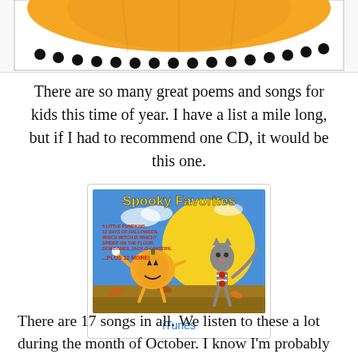[Figure (illustration): Top portion of a Halloween-themed image showing an orange pumpkin with black dots/beads along the bottom edge, partially cropped]
There are so many great poems and songs for kids this time of year.  I have a list a mile long, but if I had to recommend one CD, it would be this one.
[Figure (photo): Album cover of 'Spooky Favorites' CD showing a cartoon pumpkin and skeleton cat dancing in front of a large yellow moon. Text lists songs: 5 Little Pumpkins, 12 Days of Halloween, Which Witch is Which?, Spider on the Floor, Dry Bones, Jack-O-Lantern ...Plus 12 More!]
iTunes
There are 17 songs in all.  We listen to these a lot during the month of October.  I know I'm probably crazy, but I